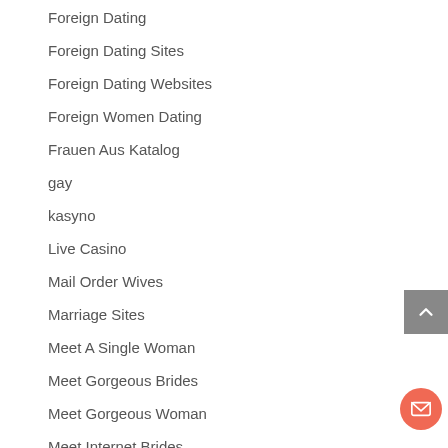Foreign Dating
Foreign Dating Sites
Foreign Dating Websites
Foreign Women Dating
Frauen Aus Katalog
gay
kasyno
Live Casino
Mail Order Wives
Marriage Sites
Meet A Single Woman
Meet Gorgeous Brides
Meet Gorgeous Woman
Meet Internet Brides
Meet Real Brides